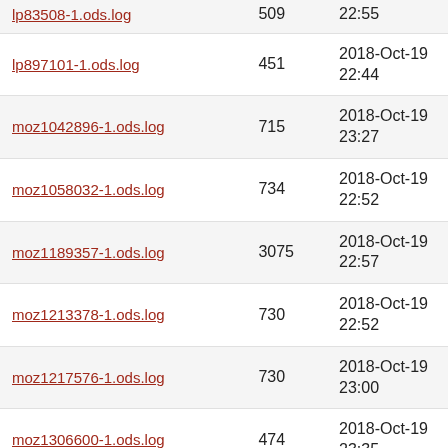| Filename | Size | Date |
| --- | --- | --- |
| lp83508-1.ods.log | 509 | 22:55 |
| lp897101-1.ods.log | 451 | 2018-Oct-19 22:44 |
| moz1042896-1.ods.log | 715 | 2018-Oct-19 23:27 |
| moz1058032-1.ods.log | 734 | 2018-Oct-19 22:52 |
| moz1189357-1.ods.log | 3075 | 2018-Oct-19 22:57 |
| moz1213378-1.ods.log | 730 | 2018-Oct-19 22:52 |
| moz1217576-1.ods.log | 730 | 2018-Oct-19 23:00 |
| moz1306600-1.ods.log | 474 | 2018-Oct-19 23:35 |
| moz381239-14.ods.log | 470 | 2018-Oct-19 23:02 |
| moz467891-2.ods.log | 530 | 2018-Oct-19 23:03 |
| moz467891-3.ods.log | 530 | 2018-Oct-19 22:58 |
| (partial) | 730 | 2018-Oct-19 |